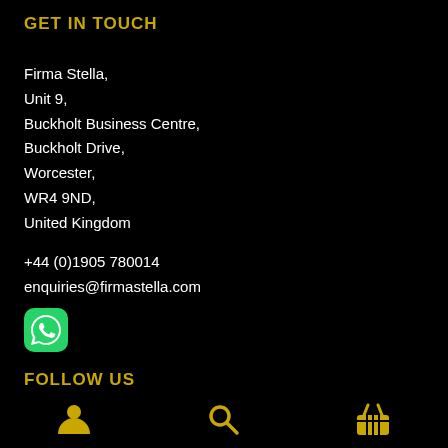GET IN TOUCH
Firma Stella,
Unit 9,
Buckholt Business Centre,
Buckholt Drive,
Worcester,
WR4 9ND,
United Kingdom
+44 (0)1905 780014
enquiries@firmastella.com
[Figure (logo): WhatsApp icon - green rounded square with white phone handset]
FOLLOW US
Twitter
[Figure (infographic): Bottom navigation bar with three gold icons: person/account, search magnifier, shopping basket]